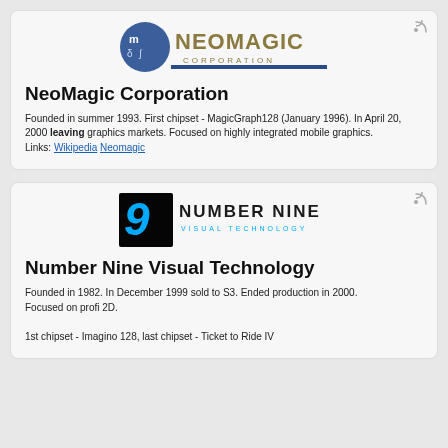[Figure (logo): NeoMagic Corporation logo with circular icon and stylized text]
NeoMagic Corporation
Founded in summer 1993. First chipset - MagicGraph128 (January 1996). In April 20, 2000 leaving graphics markets. Focused on highly integrated mobile graphics.
Links: Wikipedia Neomagic
[Figure (logo): Number Nine Visual Technology logo with blue '9' and stylized text]
Number Nine Visual Technology
Founded in 1982. In December 1999 sold to S3. Ended production in 2000.
Focused on profi 2D.
1st chipset - Imagino 128, last chipset - Ticket to Ride IV